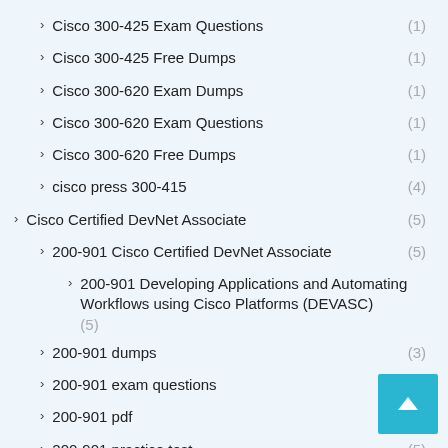Cisco 300-425 Exam Questions (1)
Cisco 300-425 Free Dumps (1)
Cisco 300-620 Exam Dumps (1)
Cisco 300-620 Exam Questions (1)
Cisco 300-620 Free Dumps (1)
cisco press 300-415 (4)
Cisco Certified DevNet Associate (5)
200-901 Cisco Certified DevNet Associate (5)
200-901 Developing Applications and Automating Workflows using Cisco Platforms (DEVASC) (5)
200-901 dumps (3)
200-901 exam questions (5)
200-901 pdf (3)
200-901 practice test (5)